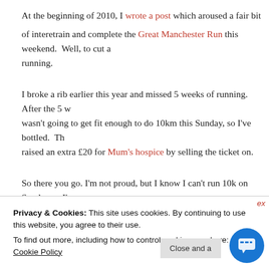At the beginning of 2010, I wrote a post which aroused a fair bit of interest... train and complete the Great Manchester Run this weekend. Well, to cut a... running.
I broke a rib earlier this year and missed 5 weeks of running. After the 5 w... wasn't going to get fit enough to do 10km this Sunday, so I've bottled. The... raised an extra £20 for Mum's hospice by selling the ticket on.
So there you go. I'm not proud, but I know I can't run 10k on Sunday so I'm... never been my forte so I think I should stick to the bike from now on. I wo... one.
Back To The Bike
Privacy & Cookies: This site uses cookies. By continuing to use this website, you agree to their use. To find out more, including how to control cookies, see here: Cookie Policy